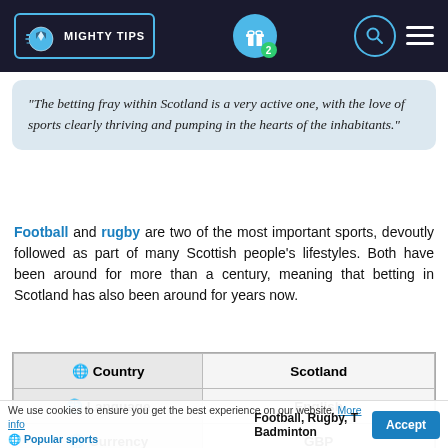[Figure (logo): Mighty Tips logo with football icon on dark navy header bar, gift icon with badge '2', search circle icon, and hamburger menu icon]
“The betting fray within Scotland is a very active one, with the love of sports clearly thriving and pumping in the hearts of the inhabitants.”
Football and rugby are two of the most important sports, devoutly followed as part of many Scottish people’s lifestyles. Both have been around for more than a century, meaning that betting in Scotland has also been around for years now.
| Country | Scotland |
| --- | --- |
| Language | English |
| Currency | GBP |
| Popular sports | Football, Rugby, Badminton |
We use cookies to ensure you get the best experience on our website. More info